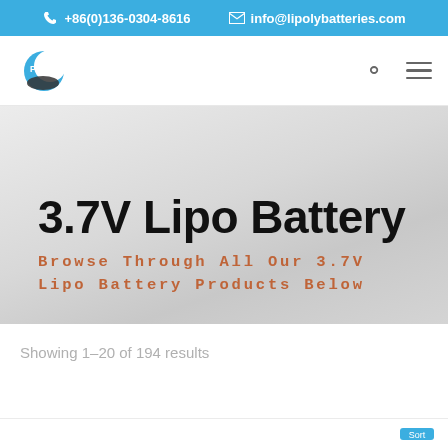+86(0)136-0304-8616   info@lipolybatteries.com
[Figure (logo): Poly Battery logo — crescent moon shape in blue/dark with 'Poly Battery' text in blue]
3.7V Lipo Battery
Browse Through All Our 3.7V Lipo Battery Products Below
Showing 1–20 of 194 results